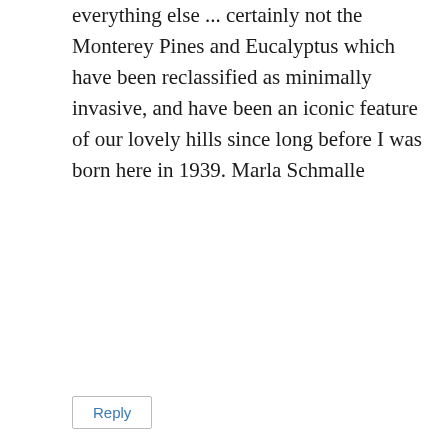everything else ... certainly not the Monterey Pines and Eucalyptus which have been reclassified as minimally invasive, and have been an iconic feature of our lovely hills since long before I was born here in 1939. Marla Schmalle
Reply
milliontrees
February 26, 2016 at 11:08 am
Your proposal is entirely consistent with the Million Trees Mantra: “Plant whatever you want. Just quit destroying everything else.”